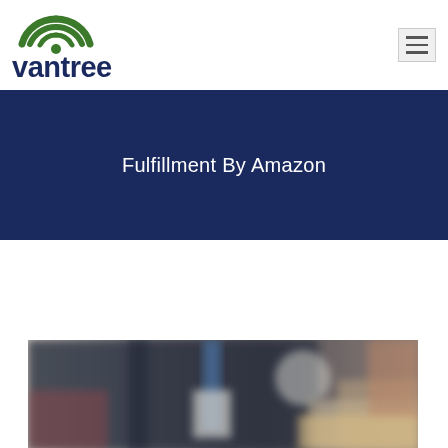[Figure (logo): Vantree company logo with green arc/signal icon above the word 'vantree' in dark blue]
[Figure (other): Hamburger menu icon (three horizontal lines) in a light gray square button in the top-right corner]
Fulfillment By Amazon
[Figure (photo): A blurred photo of a warehouse/delivery worker wearing a dark shirt with a lanyard badge, handling packages/boxes]